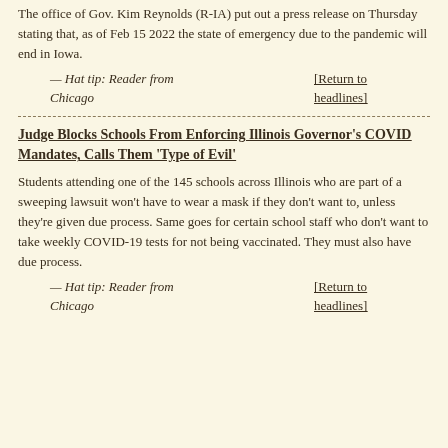The office of Gov. Kim Reynolds (R-IA) put out a press release on Thursday stating that, as of Feb 15 2022 the state of emergency due to the pandemic will end in Iowa.
— Hat tip: Reader from Chicago    [Return to headlines]
- - - - - - - - - - - - - - - - - - - - - - - - - - - - - - - - - - - - -
Judge Blocks Schools From Enforcing Illinois Governor's COVID Mandates, Calls Them 'Type of Evil'
Students attending one of the 145 schools across Illinois who are part of a sweeping lawsuit won't have to wear a mask if they don't want to, unless they're given due process. Same goes for certain school staff who don't want to take weekly COVID-19 tests for not being vaccinated. They must also have due process.
— Hat tip: Reader from Chicago    [Return to headlines]